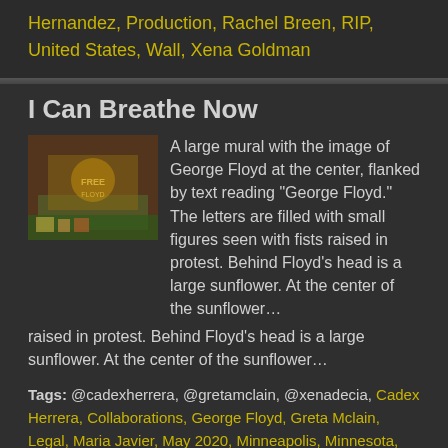Hernandez, Production, Rachel Breen, RIP, United States, Wall, Xena Goldman
I Can Breathe Now
[Figure (photo): A large mural with the image of George Floyd at the center, flanked by text reading 'George Floyd.' The letters are filled with small figures seen with fists raised in protest. Behind Floyd's head is a large sunflower. At the center of the sunflower…]
A large mural with the image of George Floyd at the center, flanked by text reading "George Floyd." The letters are filled with small figures seen with fists raised in protest. Behind Floyd’s head is a large sunflower. At the center of the sunflower…
Tags: @cadexherrera, @gretamclain, @xenadecia, Cadex Herrera, Collaborations, George Floyd, Greta Mclain, Legal, Maria Javier, May 2020, Minneapolis, Minnesota, Mural, Niko Alexander, Pablo Helm Hernandez, Production, Rachel Breen, RIP, Twin Cities, United States, Xena Goldman